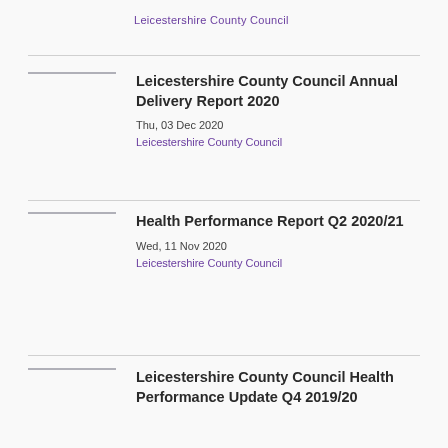Leicestershire County Council
Leicestershire County Council Annual Delivery Report 2020
Thu, 03 Dec 2020
Leicestershire County Council
Health Performance Report Q2 2020/21
Wed, 11 Nov 2020
Leicestershire County Council
Leicestershire County Council Health Performance Update Q4 2019/20